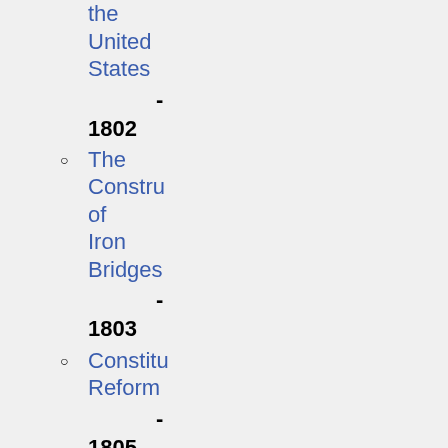the United States - 1802
The Construction of Iron Bridges - 1803
Constitutional Reform - 1805
Sources
Ingersoll, Robert G. Thomas Paine. 1892. http://www.thomaspaine.c
Kaye, Harvey J., Thomas Paine and the Promise of America. Hill and Wang. 2005.
Paine, Thomas, African Slavery in